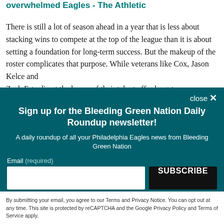overwhelmed Eagles - The Athletic
There is still a lot of season ahead in a year that is less about stacking wins to compete at the top of the league than it is about setting a foundation for long-term success. But the makeup of the roster complicates that purpose. While veterans like Cox, Jason Kelce and Zach Ertz direct the bones of their talent offer long-term
Sign up for the Bleeding Green Nation Daily Roundup newsletter!
A daily roundup of all your Philadelphia Eagles news from Bleeding Green Nation
Email (required)
SUBSCRIBE
By submitting your email, you agree to our Terms and Privacy Notice. You can opt out at any time. This site is protected by reCAPTCHA and the Google Privacy Policy and Terms of Service apply.